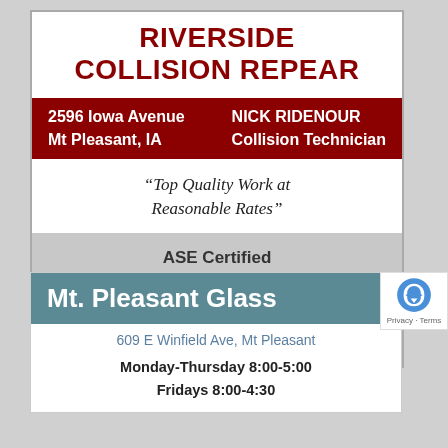RIVERSIDE COLLISION REPEAR
2596 Iowa Avenue Mt Pleasant, IA | NICK RIDENOUR Collision Technician
“Top Quality Work at Reasonable Rates”
ASE Certified Free Estimates
319-986-5430
Mt. Pleasant Glass
609 E Winfield Ave, Mt Pleasant
Monday-Thursday 8:00-5:00 Fridays 8:00-4:30